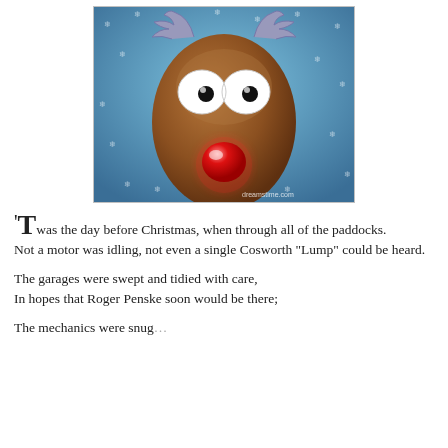[Figure (illustration): Cartoon illustration of Rudolph the red-nosed reindeer face close-up against a blue snowy background with snowflakes. The reindeer has large white eyes, brown fur, gray antlers, and a glowing red nose. Watermark 'dreamstime.com' in bottom right corner.]
‘Twas the day before Christmas, when through all of the paddocks.
Not a motor was idling, not even a single Cosworth “Lump” could be heard.

The garages were swept and tidied with care,
In hopes that Roger Penske soon would be there;

The mechanics were snug...